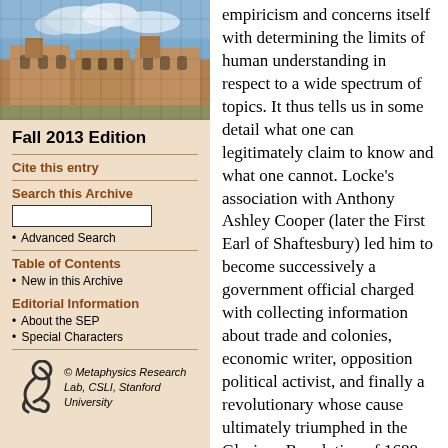[Figure (photo): Photograph of a historic stone university building with Gothic architecture under a cloudy sky]
Fall 2013 Edition
Cite this entry
Search this Archive
Advanced Search
Table of Contents
New in this Archive
Editorial Information
About the SEP
Special Characters
[Figure (logo): Metaphysics Research Lab logo — stylized figure — with italic text: © Metaphysics Research Lab, CSLI, Stanford University]
empiricism and concerns itself with determining the limits of human understanding in respect to a wide spectrum of topics. It thus tells us in some detail what one can legitimately claim to know and what one cannot. Locke's association with Anthony Ashley Cooper (later the First Earl of Shaftesbury) led him to become successively a government official charged with collecting information about trade and colonies, economic writer, opposition political activist, and finally a revolutionary whose cause ultimately triumphed in the Glorious Revolution of 1688. Among Locke's political works